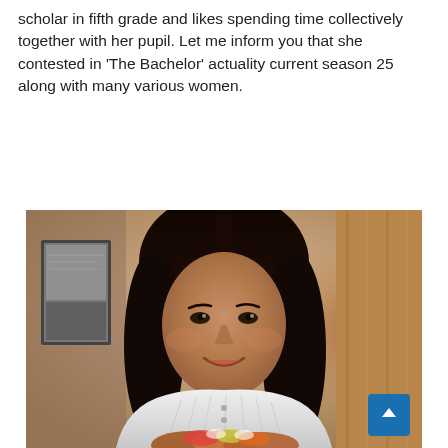scholar in fifth grade and likes spending time collectively together with her pupil. Let me inform you that she contested in 'The Bachelor' actuality current season 25 along with many various women.
[Figure (photo): A young woman with long dark hair, wearing a white ribbed sweater, smiling and holding food. Background shows a warm-toned interior with a framed picture on the left side.]